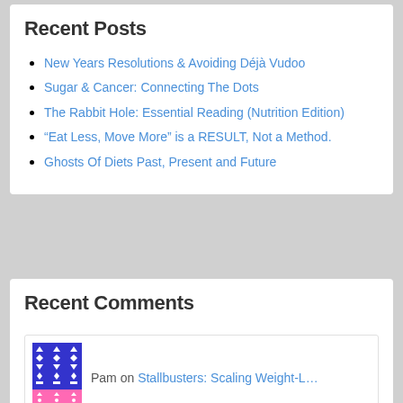Recent Posts
New Years Resolutions & Avoiding Déjà Vudoo
Sugar & Cancer: Connecting The Dots
The Rabbit Hole: Essential Reading (Nutrition Edition)
“Eat Less, Move More” is a RESULT, Not a Method.
Ghosts Of Diets Past, Present and Future
Recent Comments
Pam on Stallbusters: Scaling Weight-L…